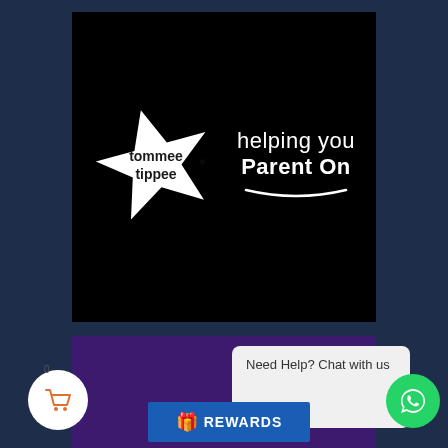[Figure (logo): Tommee Tippee brand logo on black background. White star shape with 'tommee tippee' text inside, next to white text reading 'helping you Parent On' with a hand-drawn underline swoosh.]
[Figure (screenshot): Screenshot of a website showing a purple banner section, a 'Need Help? Chat with us' popup bubble, a shopping cart icon with badge showing 0, a WhatsApp chat button (green circle with phone icon), and a blue REWARDS bar with gift emoji.]